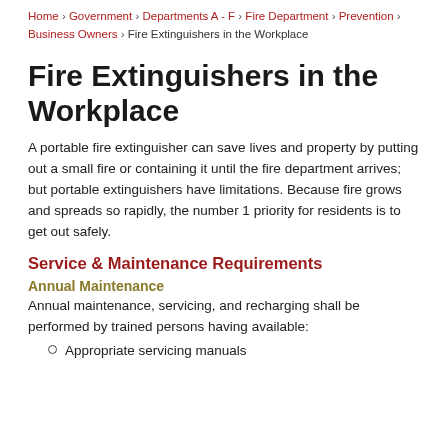Home › Government › Departments A - F › Fire Department › Prevention › Business Owners › Fire Extinguishers in the Workplace
Fire Extinguishers in the Workplace
A portable fire extinguisher can save lives and property by putting out a small fire or containing it until the fire department arrives; but portable extinguishers have limitations. Because fire grows and spreads so rapidly, the number 1 priority for residents is to get out safely.
Service & Maintenance Requirements
Annual Maintenance
Annual maintenance, servicing, and recharging shall be performed by trained persons having available:
Appropriate servicing manuals